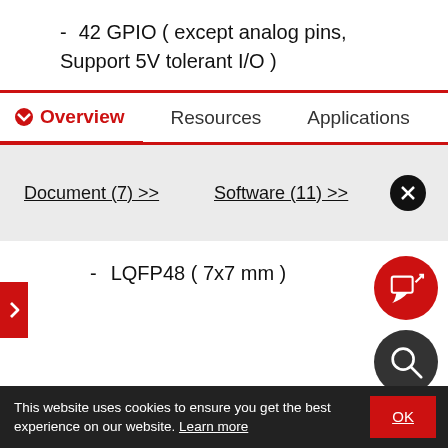- 42 GPIO ( except analog pins, Support 5V tolerant I/O )
Overview   Resources   Applications
Document (7) >>   Software (11) >>
- LQFP48 ( 7x7 mm )
This website uses cookies to ensure you get the best experience on our website. Learn more